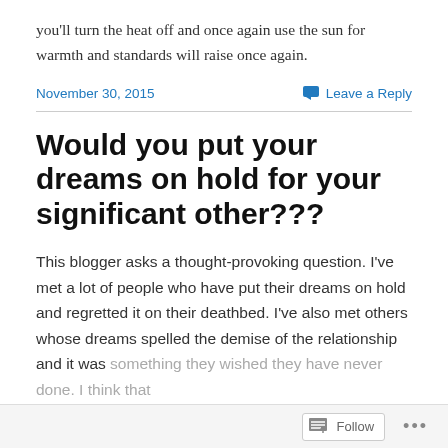you'll turn the heat off and once again use the sun for warmth and standards will raise once again.
November 30, 2015   Leave a Reply
Would you put your dreams on hold for your significant other???
This blogger asks a thought-provoking question. I've met a lot of people who have put their dreams on hold and regretted it on their deathbed. I've also met others whose dreams spelled the demise of the relationship and it was something they wished they have never done. I think that
Follow  ...